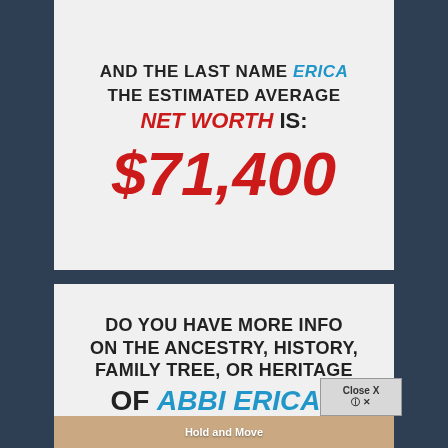AND THE LAST NAME ERICA THE ESTIMATED AVERAGE NET WORTH IS:
$71,400
DO YOU HAVE MORE INFO ON THE ANCESTRY, HISTORY, FAMILY TREE, OR HERITAGE OF ABBI ERICA?
[Figure (screenshot): Ad overlay with Hold and Move UI element and Close X button]